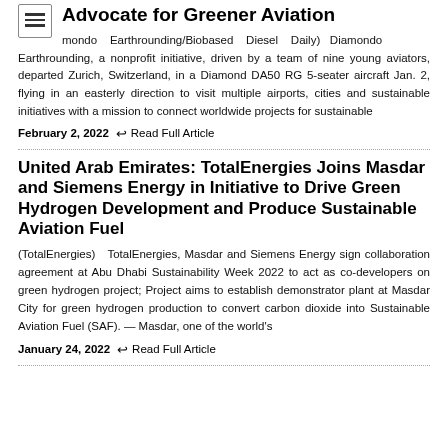Advocate for Greener Aviation
(Diamondo Earthrounding/Biobased Diesel Daily) Diamondo Earthrounding, a nonprofit initiative, driven by a team of nine young aviators, departed Zurich, Switzerland, in a Diamond DA50 RG 5-seater aircraft Jan. 2, flying in an easterly direction to visit multiple airports, cities and sustainable initiatives with a mission to connect worldwide projects for sustainable
February 2, 2022  ↩ Read Full Article
United Arab Emirates: TotalEnergies Joins Masdar and Siemens Energy in Initiative to Drive Green Hydrogen Development and Produce Sustainable Aviation Fuel
(TotalEnergies) TotalEnergies, Masdar and Siemens Energy sign collaboration agreement at Abu Dhabi Sustainability Week 2022 to act as co-developers on green hydrogen project; Project aims to establish demonstrator plant at Masdar City for green hydrogen production to convert carbon dioxide into Sustainable Aviation Fuel (SAF). — Masdar, one of the world's
January 24, 2022  ↩ Read Full Article